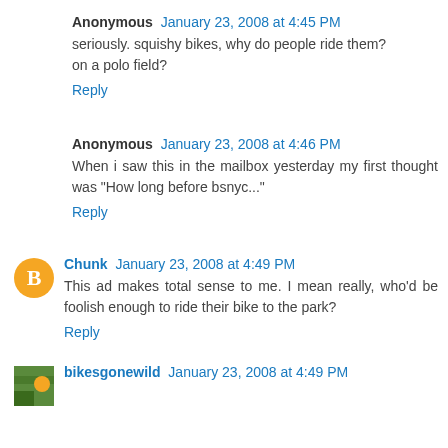Anonymous January 23, 2008 at 4:45 PM
seriously. squishy bikes, why do people ride them?
on a polo field?
Reply
Anonymous January 23, 2008 at 4:46 PM
When i saw this in the mailbox yesterday my first thought was "How long before bsnyc..."
Reply
Chunk January 23, 2008 at 4:49 PM
This ad makes total sense to me. I mean really, who'd be foolish enough to ride their bike to the park?
Reply
bikesgonewild January 23, 2008 at 4:49 PM